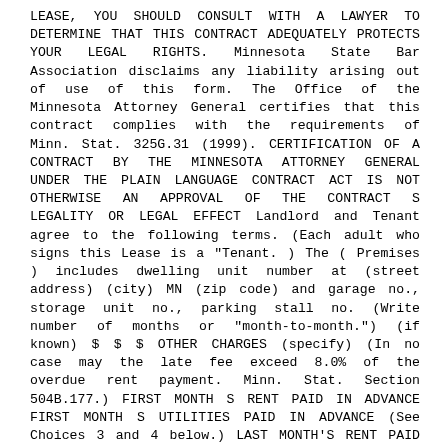LEASE, YOU SHOULD CONSULT WITH A LAWYER TO DETERMINE THAT THIS CONTRACT ADEQUATELY PROTECTS YOUR LEGAL RIGHTS. Minnesota State Bar Association disclaims any liability arising out of use of this form. The Office of the Minnesota Attorney General certifies that this contract complies with the requirements of Minn. Stat. 325G.31 (1999). CERTIFICATION OF A CONTRACT BY THE MINNESOTA ATTORNEY GENERAL UNDER THE PLAIN LANGUAGE CONTRACT ACT IS NOT OTHERWISE AN APPROVAL OF THE CONTRACT S LEGALITY OR LEGAL EFFECT Landlord and Tenant agree to the following terms. (Each adult who signs this Lease is a "Tenant. ) The ( Premises ) includes dwelling unit number at (street address) (city) MN (zip code) and garage no., storage unit no., parking stall no. (Write number of months or "month-to-month.") (if known) $ $ $ OTHER CHARGES (specify) (In no case may the late fee exceed 8.0% of the overdue rent payment. Minn. Stat. Section 504B.177.) FIRST MONTH S RENT PAID IN ADVANCE FIRST MONTH S UTILITIES PAID IN ADVANCE (See Choices 3 and 4 below.) LAST MONTH'S RENT PAID IN ADVANCE SECURITY DEPOSIT PAID IN ADVANCE FIRST MONTH S RENT FOR GARAGE PAID IN ADVANCE FIRST MONTH S RENT FOR